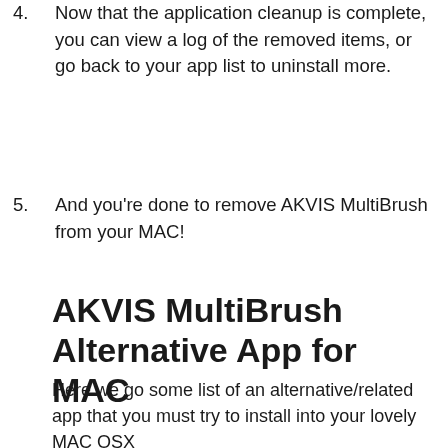4. Now that the application cleanup is complete, you can view a log of the removed items, or go back to your app list to uninstall more.
5. And you're done to remove AKVIS MultiBrush from your MAC!
AKVIS MultiBrush Alternative App for MAC
Here we go some list of an alternative/related app that you must try to install into your lovely MAC OSX
DISCLAIMER